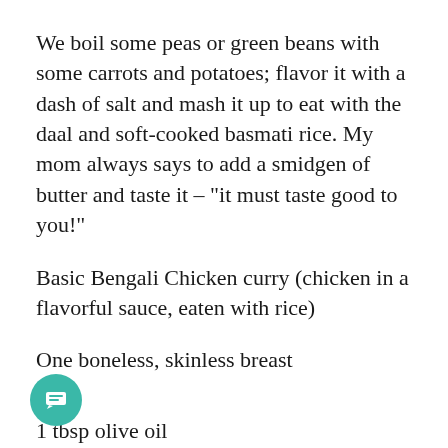We boil some peas or green beans with some carrots and potatoes; flavor it with a dash of salt and mash it up to eat with the daal and soft-cooked basmati rice. My mom always says to add a smidgen of butter and taste it – “it must taste good to you!”
Basic Bengali Chicken curry (chicken in a flavorful sauce, eaten with rice)
One boneless, skinless breast
1 tbsp olive oil
1 pinch of whole cumin seeds